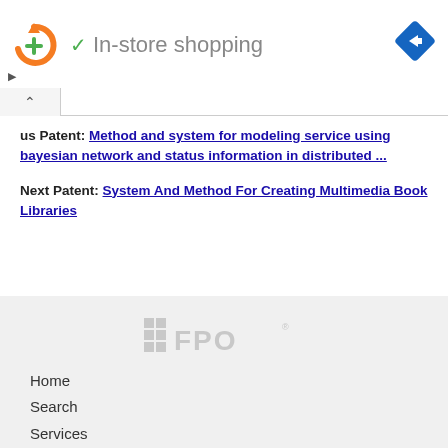[Figure (screenshot): Ad bar showing a logo with orange circular arrow and green plus sign, checkmark icon, 'In-store shopping' text, and blue diamond navigation icon on the right. Small play and close icons below.]
us Patent: Method and system for modeling service using bayesian network and status information in distributed ...
Next Patent: System And Method For Creating Multimedia Book Libraries
[Figure (logo): FPO logo in light gray with grid icon to the left]
Home
Search
Services
Contact us